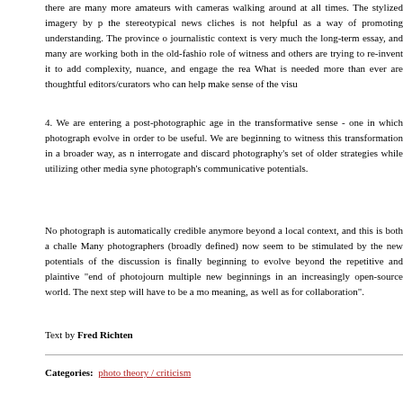there are many more amateurs with cameras walking around at all times. The stylized imagery by p the stereotypical news cliches is not helpful as a way of promoting understanding. The province o journalistic context is very much the long-term essay, and many are working both in the old-fashio role of witness and others are trying to re-invent it to add complexity, nuance, and engage the rea What is needed more than ever are thoughtful editors/curators who can help make sense of the visu
4. We are entering a post-photographic age in the transformative sense - one in which photograph evolve in order to be useful. We are beginning to witness this transformation in a broader way, as interrogate and discard photography's set of older strategies while utilizing other media syne photograph's communicative potentials.
No photograph is automatically credible anymore beyond a local context, and this is both a challe Many photographers (broadly defined) now seem to be stimulated by the new potentials of the discussion is finally beginning to evolve beyond the repetitive and plaintive "end of photojourn multiple new beginnings in an increasingly open-source world. The next step will have to be a mo meaning, as well as for collaboration".
Text by Fred Richten
Categories:  photo theory / criticism